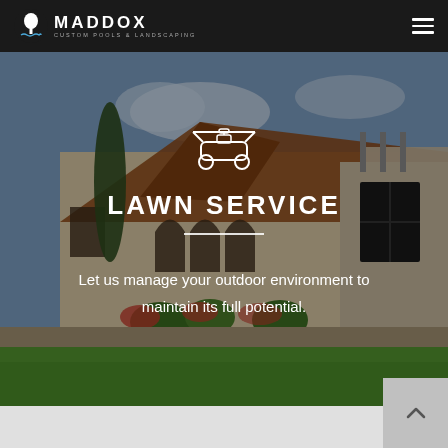MADDOX CUSTOM POOLS & LANDSCAPING
[Figure (screenshot): Hero background photo of a Mediterranean-style luxury home with lush landscaping, lawn, and flowering shrubs]
[Figure (illustration): White outline icon of a lawn mower]
LAWN SERVICE
Let us manage your outdoor environment to maintain its full potential.